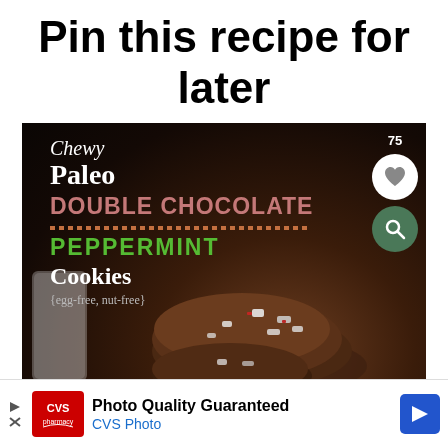Pin this recipe for later
[Figure (photo): Dark background recipe card image showing Chewy Paleo Double Chocolate Peppermint Cookies with text overlay and chocolate cookies with white peppermint chips at bottom. Pinterest save button (75 saves) and heart/search icons visible on right side.]
[Figure (other): CVS Pharmacy advertisement banner: Photo Quality Guaranteed, CVS Photo]